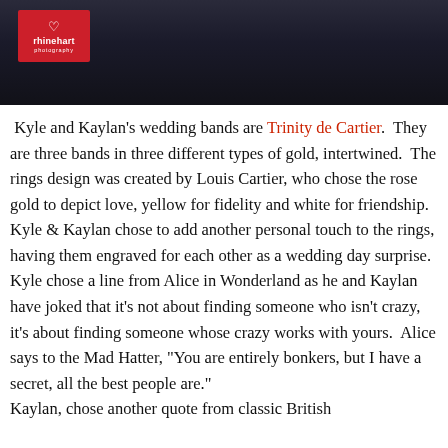[Figure (photo): Dark photograph of two people in formal attire (suits) with hands clasped together, with a red rhinehart photography logo in the top left corner]
Kyle and Kaylan's wedding bands are Trinity de Cartier. They are three bands in three different types of gold, intertwined. The rings design was created by Louis Cartier, who chose the rose gold to depict love, yellow for fidelity and white for friendship. Kyle & Kaylan chose to add another personal touch to the rings, having them engraved for each other as a wedding day surprise. Kyle chose a line from Alice in Wonderland as he and Kaylan have joked that it's not about finding someone who isn't crazy, it's about finding someone whose crazy works with yours. Alice says to the Mad Hatter, "You are entirely bonkers, but I have a secret, all the best people are." Kaylan, chose another quote from classic British